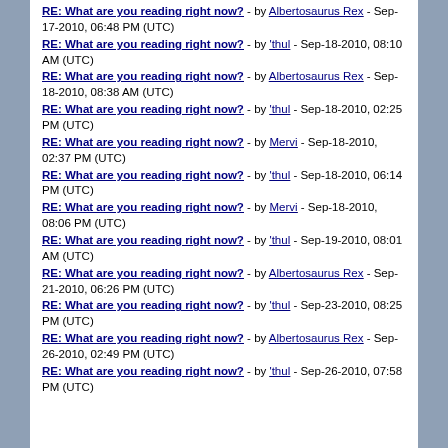RE: What are you reading right now? - by Albertosaurus Rex - Sep-17-2010, 06:48 PM (UTC)
RE: What are you reading right now? - by 'thul - Sep-18-2010, 08:10 AM (UTC)
RE: What are you reading right now? - by Albertosaurus Rex - Sep-18-2010, 08:38 AM (UTC)
RE: What are you reading right now? - by 'thul - Sep-18-2010, 02:25 PM (UTC)
RE: What are you reading right now? - by Mervi - Sep-18-2010, 02:37 PM (UTC)
RE: What are you reading right now? - by 'thul - Sep-18-2010, 06:14 PM (UTC)
RE: What are you reading right now? - by Mervi - Sep-18-2010, 08:06 PM (UTC)
RE: What are you reading right now? - by 'thul - Sep-19-2010, 08:01 AM (UTC)
RE: What are you reading right now? - by Albertosaurus Rex - Sep-21-2010, 06:26 PM (UTC)
RE: What are you reading right now? - by 'thul - Sep-23-2010, 08:25 PM (UTC)
RE: What are you reading right now? - by Albertosaurus Rex - Sep-26-2010, 02:49 PM (UTC)
RE: What are you reading right now? - by 'thul - Sep-26-2010, 07:58 PM (UTC)